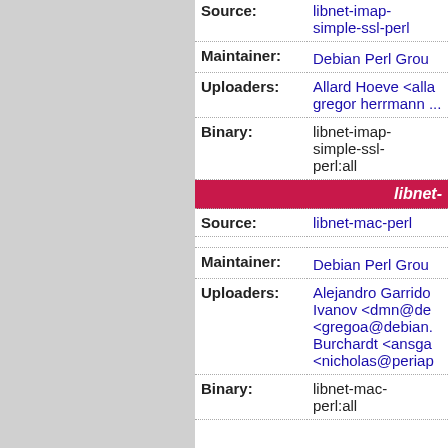| Source: | libnet-imap-simple-ssl-perl |
| Maintainer: | Debian Perl Group |
| Uploaders: | Allard Hoeve <alla...
gregor herrmann ... |
| Binary: | libnet-imap-simple-ssl-perl:all |
| [section] | libnet-... |
| Source: | libnet-mac-perl |
| Maintainer: | Debian Perl Group |
| Uploaders: | Alejandro Garrido Ivanov <dmn@de... <gregoa@debian... Burchardt <ansga... <nicholas@periap... |
| Binary: | libnet-mac-perl:all |
| [section] | libnet-t... |
| Source: | libnet-telnet-perl |